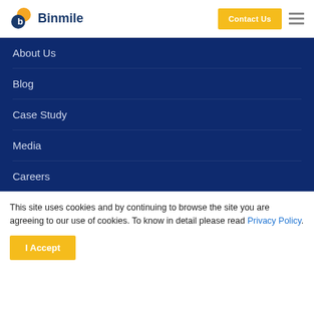Binmile | Contact Us
About Us
Blog
Case Study
Media
Careers
This site uses cookies and by continuing to browse the site you are agreeing to our use of cookies. To know in detail please read Privacy Policy.
I Accept